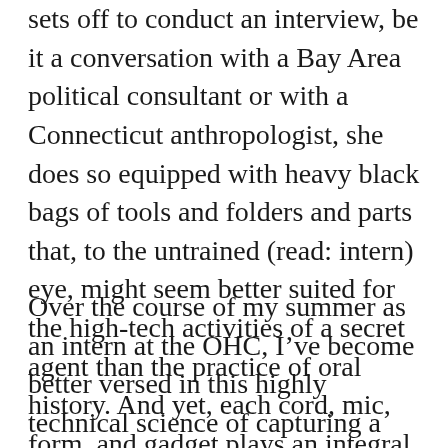sets off to conduct an interview, be it a conversation with a Bay Area political consultant or with a Connecticut anthropologist, she does so equipped with heavy black bags of tools and folders and parts that, to the untrained (read: intern) eye, might seem better suited for the high-tech activities of a secret agent than the practice of oral history. And yet, each cord, mic, form, and gadget plays an integral role in the interview process.
Over the course of my summer as an intern at the OHC, I've become better versed in this highly technical science of capturing a story. I've learned how to identify a potential narrator and with which